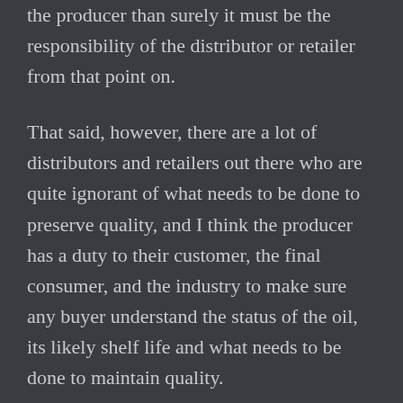if the olive extra virgin when it leaves the producer than surely it must be the responsibility of the distributor or retailer from that point on.
That said, however, there are a lot of distributors and retailers out there who are quite ignorant of what needs to be done to preserve quality, and I think the producer has a duty to their customer, the final consumer, and the industry to make sure any buyer understand the status of the oil, its likely shelf life and what needs to be done to maintain quality.
I hope that makes sense. We need to think of a general duty of care and not